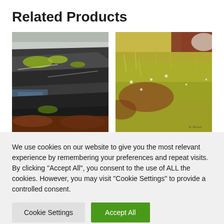Related Products
[Figure (photo): Painting of dark rocky coastal landscape with yellow-green lichen patches, dark geological formations, blue water glimpses, and reddish-brown seaweed at bottom]
[Figure (photo): Painting of a meadow or grassland scene with yellow-green grasses, reddish-brown earth tones, wild flowers, and loose impressionistic brushwork]
We use cookies on our website to give you the most relevant experience by remembering your preferences and repeat visits. By clicking "Accept All", you consent to the use of ALL the cookies. However, you may visit "Cookie Settings" to provide a controlled consent.
Cookie Settings
Accept All